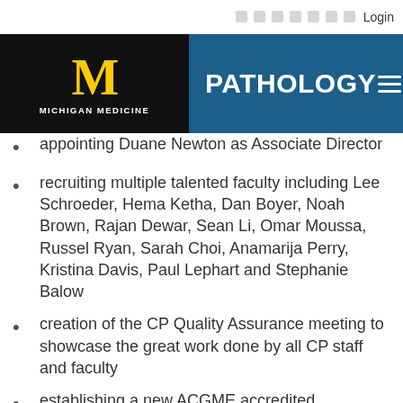Michigan Medicine | PATHOLOGY
appointing Duane Newton as Associate Director
recruiting multiple talented faculty including Lee Schroeder, Hema Ketha, Dan Boyer, Noah Brown, Rajan Dewar, Sean Li, Omar Moussa, Russel Ryan, Sarah Choi, Anamarija Perry, Kristina Davis, Paul Lephart and Stephanie Balow
creation of the CP Quality Assurance meeting to showcase the great work done by all CP staff and faculty
establishing a new ACGME accredited fellowship in Chemical Pathology
integration of multiple molecular testing